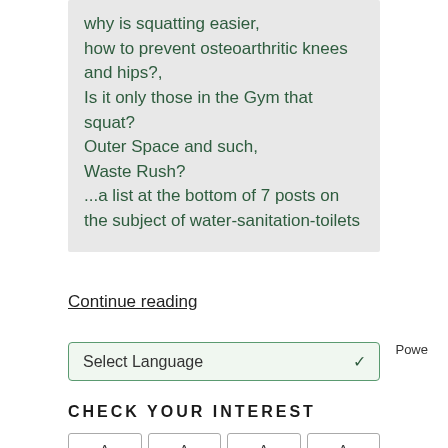What's the bottom line here?, why is squatting easier, how to prevent osteoarthritic knees and hips?, Is it only those in the Gym that squat? Outer Space and such, Waste Rush? ...a list at the bottom of 7 posts on the subject of water-sanitation-toilets
Continue reading
Select Language
Powe
CHECK YOUR INTEREST
Tags row (partially visible)